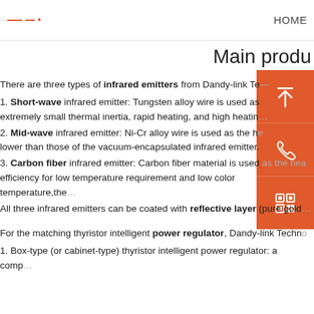HOME
Main produ
There are three types of infrared emitters from Dandy-link Te...
1. Short-wave infrared emitter: Tungsten alloy wire is used as... extremely small thermal inertia, rapid heating, and high heatin...
2. Mid-wave infrared emitter: Ni-Cr alloy wire is used as the he... lower than those of the vacuum-encapsulated infrared emitter.
3. Carbon fiber infrared emitter: Carbon fiber material is used as the hea... efficiency for low temperature requirement and low color temperature,the...
All three infrared emitters can be coated with reflective layer (pure gold...
For the matching thyristor intelligent power regulator, Dandy-link Techno...
1. Box-type (or cabinet-type) thyristor intelligent power regulator: a comp...